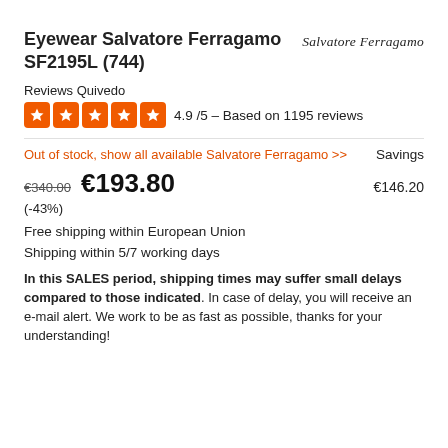Eyewear Salvatore Ferragamo SF2195L (744)
Reviews Quivedo
4.9 /5 - Based on 1195 reviews
Out of stock, show all available Salvatore Ferragamo >>
Savings
€340.00  €193.80   €146.20
(-43%)
Free shipping within European Union
Shipping within 5/7 working days
In this SALES period, shipping times may suffer small delays compared to those indicated. In case of delay, you will receive an e-mail alert. We work to be as fast as possible, thanks for your understanding!